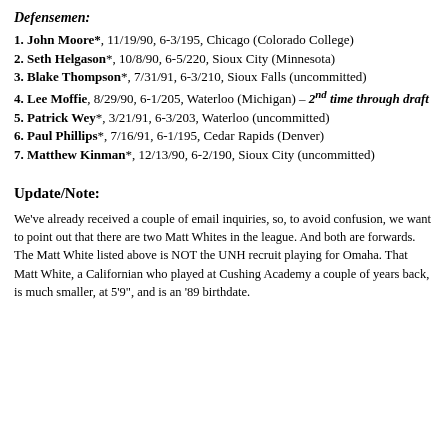Defensemen:
1. John Moore*, 11/19/90, 6-3/195, Chicago (Colorado College)
2. Seth Helgason*, 10/8/90, 6-5/220, Sioux City (Minnesota)
3. Blake Thompson*, 7/31/91, 6-3/210, Sioux Falls (uncommitted)
4. Lee Moffie, 8/29/90, 6-1/205, Waterloo (Michigan) – 2nd time through draft
5. Patrick Wey*, 3/21/91, 6-3/203, Waterloo (uncommitted)
6. Paul Phillips*, 7/16/91, 6-1/195, Cedar Rapids (Denver)
7. Matthew Kinman*, 12/13/90, 6-2/190, Sioux City (uncommitted)
Update/Note:
We've already received a couple of email inquiries, so, to avoid confusion, we want to point out that there are two Matt Whites in the league. And both are forwards. The Matt White listed above is NOT the UNH recruit playing for Omaha. That Matt White, a Californian who played at Cushing Academy a couple of years back, is much smaller, at 5'9", and is an '89 birthdate.